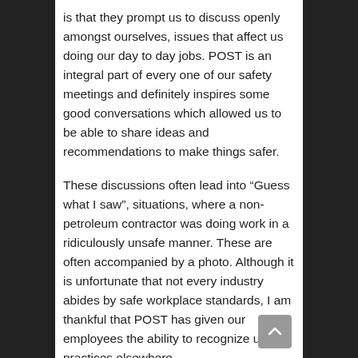is that they prompt us to discuss openly amongst ourselves, issues that affect us doing our day to day jobs. POST is an integral part of every one of our safety meetings and definitely inspires some good conversations which allowed us to be able to share ideas and recommendations to make things safer.
These discussions often lead into “Guess what I saw”, situations, where a non-petroleum contractor was doing work in a ridiculously unsafe manner. These are often accompanied by a photo. Although it is unfortunate that not every industry abides by safe workplace standards, I am thankful that POST has given our employees the ability to recognize unsafe practices elsewhere.
Safety is definitely a serious focus for us. Our guys have learned that if ever there is a breach in the safety protocol, the consequences are serious. We